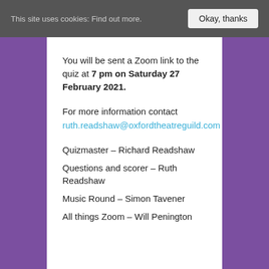This site uses cookies: Find out more.
You will be sent a Zoom link to the quiz at 7 pm on Saturday 27 February 2021.
For more information contact
ruth.readshaw@oxfordtheatreguild.com
Quizmaster – Richard Readshaw
Questions and scorer – Ruth Readshaw
Music Round – Simon Tavener
All things Zoom – Will Penington